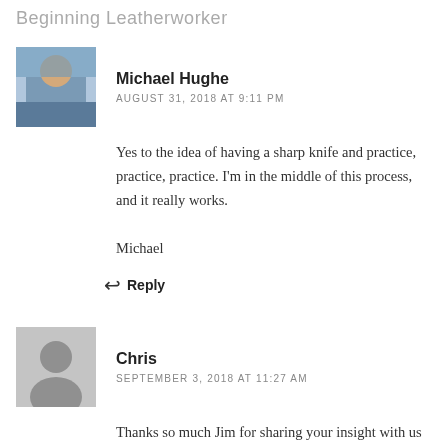Beginning Leatherworker
Michael Hughe
AUGUST 31, 2018 AT 9:11 PM
Yes to the idea of having a sharp knife and practice, practice, practice. I'm in the middle of this process, and it really works.

Michael
Reply
Chris
SEPTEMBER 3, 2018 AT 11:27 AM
Thanks so much Jim for sharing your insight with us old and new. Those reminders are priceless